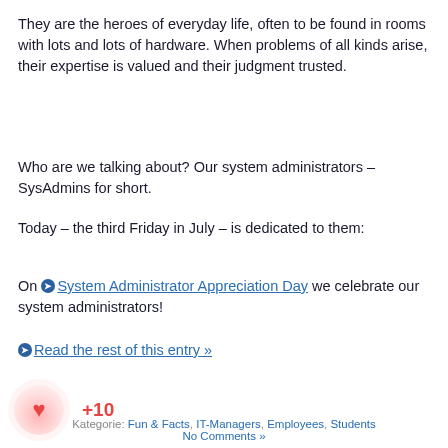They are the heroes of everyday life, often to be found in rooms with lots and lots of hardware. When problems of all kinds arise, their expertise is valued and their judgment trusted.
Who are we talking about? Our system administrators – SysAdmins for short.
Today – the third Friday in July – is dedicated to them:
On ❯System Administrator Appreciation Day we celebrate our system administrators!
❯Read the rest of this entry »
[Figure (infographic): Like/heart button widget showing a heart icon inside a pink circle with +10 count in red text]
Kategorie: Fun & Facts, IT-Managers, Employees, Students
No Comments »